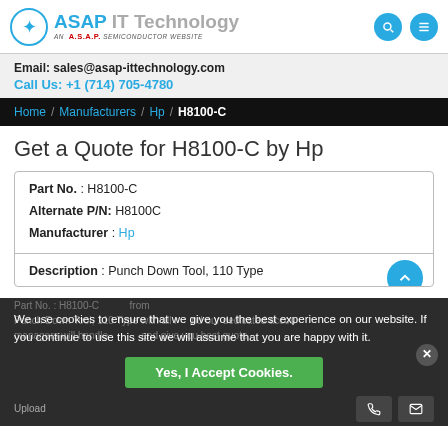ASAP IT Technology — AN A.S.A.P. SEMICONDUCTOR WEBSITE
Email: sales@asap-ittechnology.com
Call Us: +1 (714) 705-4780
Home / Manufacturers / Hp / H8100-C
Get a Quote for H8100-C by Hp
| Part No. : H8100-C |
| Alternate P/N: H8100C |
| Manufacturer : Hp |
| Description : Punch Down Tool, 110 Type |
We use cookies to ensure that we give you the best experience on our website. If you continue to use this site we will assume that you are happy with it.
Yes, I Accept Cookies.